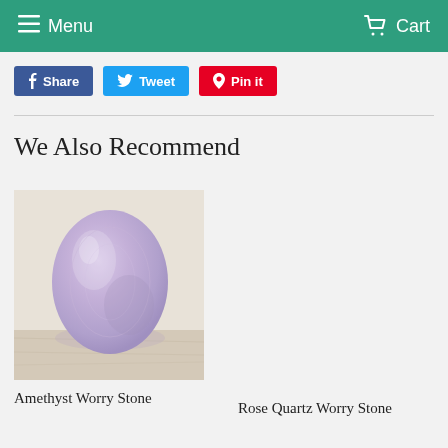Menu   Cart
Share   Tweet   Pin it
We Also Recommend
[Figure (photo): An oval-shaped amethyst worry stone, light purple/lavender color, photographed on a light wooden surface]
Amethyst Worry Stone
Rose Quartz Worry Stone